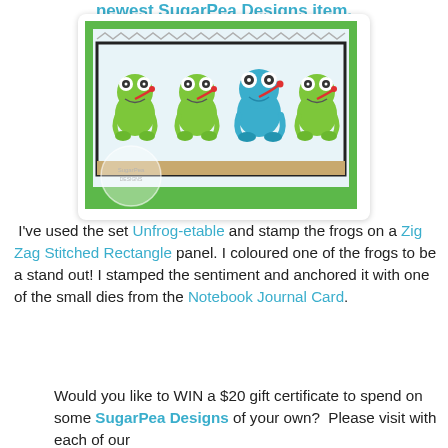newest SugarPea Designs item.
[Figure (photo): A greeting card featuring four cartoon frogs stamped in a row on a Zig Zag Stitched Rectangle panel with a green background. Three frogs are green and one frog in the middle is blue, each frog holding a tongue out catching something. A SugarPea watermark is visible in the lower left corner.]
I've used the set Unfrog-etable and stamp the frogs on a Zig Zag Stitched Rectangle panel. I coloured one of the frogs to be a stand out! I stamped the sentiment and anchored it with one of the small dies from the Notebook Journal Card.
Would you like to WIN a $20 gift certificate to spend on some SugarPea Designs of your own? Please visit with each of our designers as you will find the answers to...